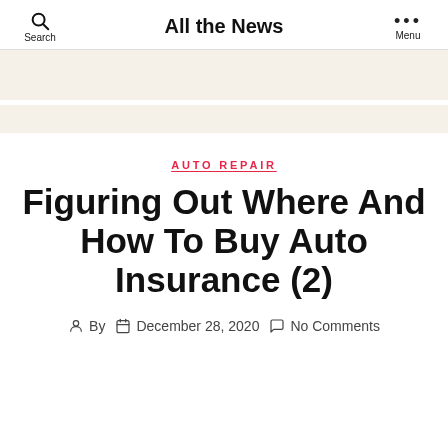All the News
[Figure (other): Advertisement banner area (beige/cream background)]
AUTO REPAIR
Figuring Out Where And How To Buy Auto Insurance (2)
By  December 28, 2020  No Comments